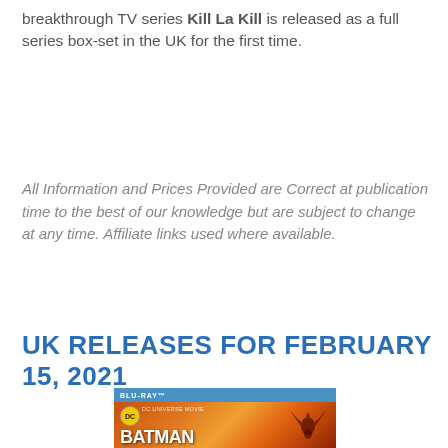breakthrough TV series Kill La Kill is released as a full series box-set in the UK for the first time.
All Information and Prices Provided are Correct at publication time to the best of our knowledge but are subject to change at any time. Affiliate links used where available.
UK RELEASES FOR FEBRUARY 15, 2021
[Figure (photo): Blu-ray cover of Batman DC Universe Movie animated film showing the Batman title text over an orange/red sunset background with a bat figure silhouette]